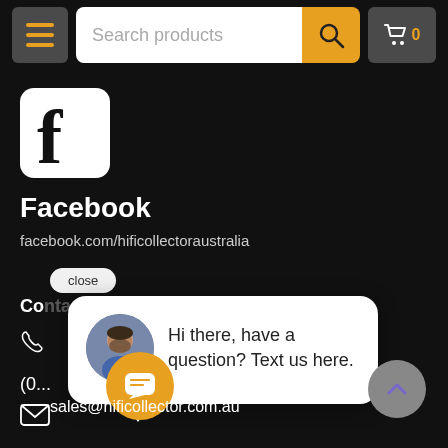Search products | Cart 0
[Figure (logo): Facebook logo icon - white rounded square with bold black letter f]
Facebook
facebook.com/hificollectoraustralia
close
Co...
[Figure (screenshot): Chat popup widget with avatar photo of man and text: Hi there, have a question? Text us here.]
Hi there, have a question? Text us here.
[Figure (illustration): Yellow chat bubble circle button]
sales@hificollector.com.au
[Figure (illustration): Grey scroll-to-top arrow button]